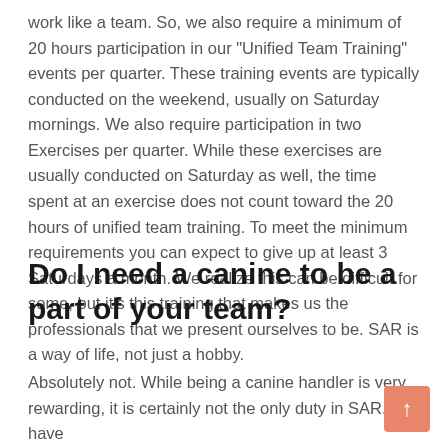work like a team. So, we also require a minimum of 20 hours participation in our "Unified Team Training" events per quarter. These training events are typically conducted on the weekend, usually on Saturday mornings. We also require participation in two Exercises per quarter. While these exercises are usually conducted on Saturday as well, the time spent at an exercise does not count toward the 20 hours of unified team training. To meet the minimum requirements you can expect to give up at least 3 Saturdays a month. We realize this can be difficult for some, but it's this training that makes us the professionals that we present ourselves to be. SAR is a way of life, not just a hobby.
Do I need a canine to be a part of your team?
Absolutely not. While being a canine handler is very rewarding, it is certainly not the only duty in SAR. We have